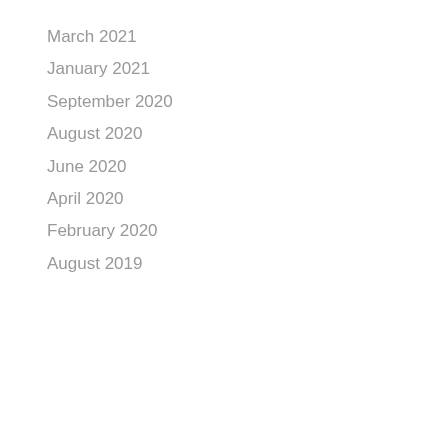March 2021
January 2021
September 2020
August 2020
June 2020
April 2020
February 2020
August 2019